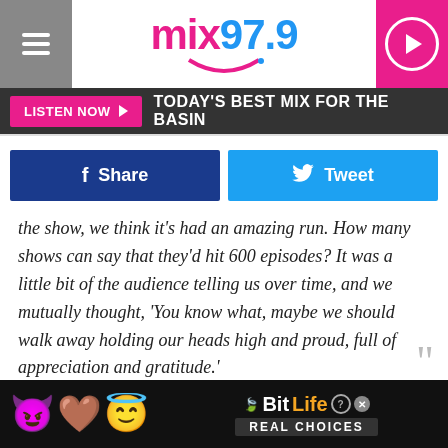[Figure (screenshot): mix97.9 radio station website header with hamburger menu, logo, and play button]
LISTEN NOW ▶   TODAY'S BEST MIX FOR THE BASIN
Share   Tweet
the show, we think it's had an amazing run. How many shows can say that they'd hit 600 episodes? It was a little bit of the audience telling us over time, and we mutually thought, 'You know what, maybe we should walk away holding our heads high and proud, full of appreciation and gratitude.'
The series notably increased its viewership with a move to 11:30 P.M., but remained somewhat flat against The Daily Show With Trevor Noah, averaging between 400k and 490k viewers...
[Figure (screenshot): BitLife - Real Choices advertisement banner with emojis]